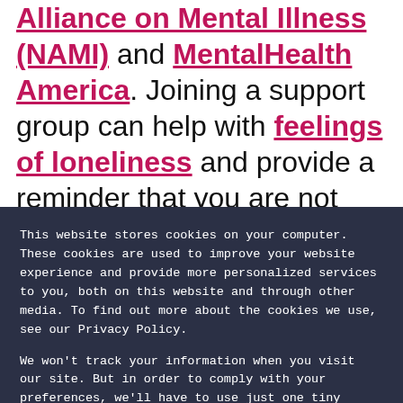Alliance on Mental Illness (NAMI) and MentalHealth America. Joining a support group can help with feelings of loneliness and provide a reminder that you are not alone in your...
This website stores cookies on your computer. These cookies are used to improve your website experience and provide more personalized services to you, both on this website and through other media. To find out more about the cookies we use, see our Privacy Policy.

We won't track your information when you visit our site. But in order to comply with your preferences, we'll have to use just one tiny cookie so that you're not asked to make this choice again.